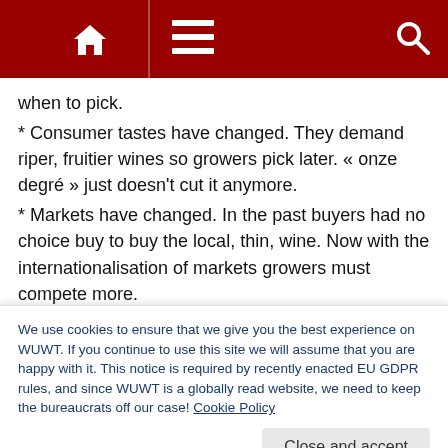[Navigation bar with home, menu, and search icons]
when to pick.
* Consumer tastes have changed. They demand riper, fruitier wines so growers pick later. « onze degré » just doesn't cut it anymore.
* Markets have changed. In the past buyers had no choice buy to buy the local, thin, wine. Now with the internationalisation of markets growers must compete more.
* Regulation has changed. In the past it was easy to blend in a bit of wine from down south. It's not a co-incidence that in the '60's and '70's the largest importer of Algerian wines was
We use cookies to ensure that we give you the best experience on WUWT. If you continue to use this site we will assume that you are happy with it. This notice is required by recently enacted EU GDPR rules, and since WUWT is a globally read website, we need to keep the bureaucrats off our case! Cookie Policy
Close and accept
is of weather. Flowering date is a function of pruning date